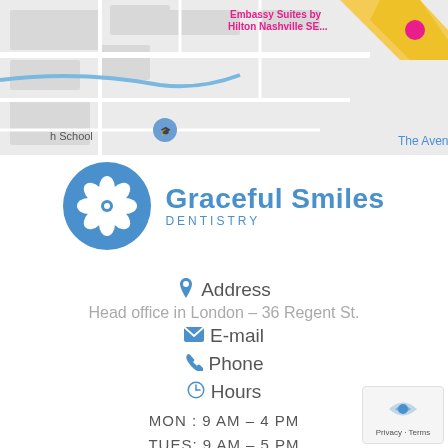[Figure (map): Google Maps screenshot showing area near Nashville SE with Embassy Suites by Hilton Nashville SE, a school marker, and The Avenue visible on the right side. Road network on light gray background with yellow highway.]
[Figure (logo): Graceful Smiles Dentistry logo — blue circle with white flower and GRACEFUL SMILES DENTISTRY text in blue]
Address
Head office in London - 36 Regent St.
E-mail
Phone
Hours
MON :  9 AM – 4 PM
TUES:  9 AM – 5 PM
WED: CLOSED